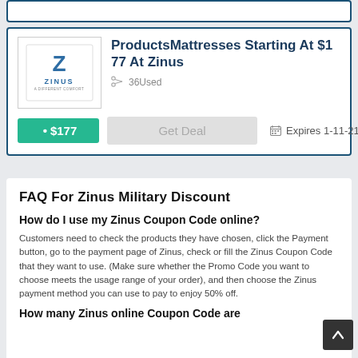[Figure (logo): Zinus logo with Z lettermark and 'ZINUS' text below]
ProductsMattresses Starting At $177 At Zinus
36Used
Get Deal
Expires 1-11-21
$177
FAQ For Zinus Military Discount
How do I use my Zinus Coupon Code online?
Customers need to check the products they have chosen, click the Payment button, go to the payment page of Zinus, check or fill the Zinus Coupon Code that they want to use. (Make sure whether the Promo Code you want to choose meets the usage range of your order), and then choose the Zinus payment method you can use to pay to enjoy 50% off.
How many Zinus online Coupon Code are